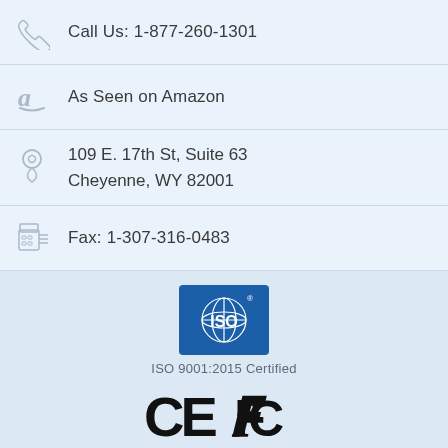Call Us: 1-877-260-1301
As Seen on Amazon
109 E. 17th St, Suite 63
Cheyenne, WY 82001
Fax: 1-307-316-0483
[Figure (logo): ISO logo — blue square with globe icon and ISO text, ISO 9001:2015 Certified]
ISO 9001:2015 Certified
[Figure (logo): CE and FCC certification logos]
We Accept:
[Figure (logo): Payment cards: VISA, Mastercard, American Express, Maestro]